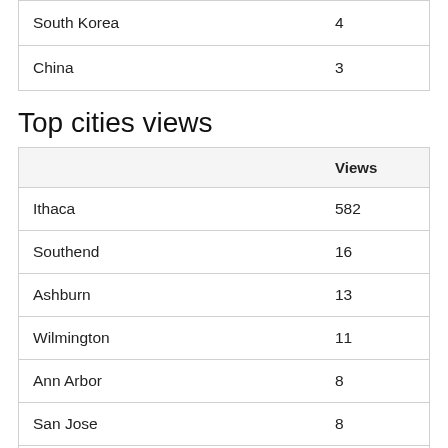|  | Views |
| --- | --- |
| South Korea | 4 |
| China | 3 |
Top cities views
|  | Views |
| --- | --- |
| Ithaca | 582 |
| Southend | 16 |
| Ashburn | 13 |
| Wilmington | 11 |
| Ann Arbor | 8 |
| San Jose | 8 |
| Frankfurt am Main | 5 |